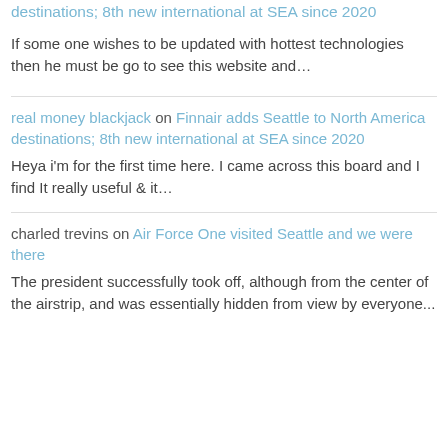destinations; 8th new international at SEA since 2020
If some one wishes to be updated with hottest technologies then he must be go to see this website and…
real money blackjack on Finnair adds Seattle to North America destinations; 8th new international at SEA since 2020
Heya i'm for the first time here. I came across this board and I find It really useful & it…
charled trevins on Air Force One visited Seattle and we were there
The president successfully took off, although from the center of the airstrip, and was essentially hidden from view by everyone...